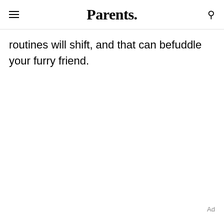Parents.
routines will shift, and that can befuddle your furry friend.
Ad